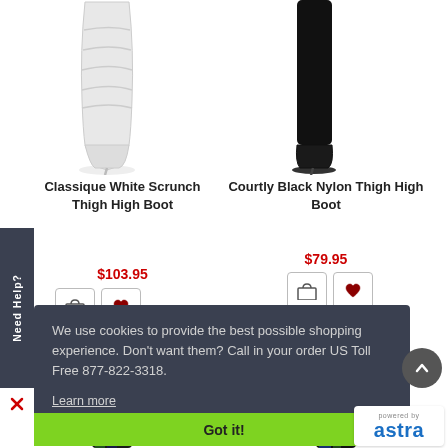[Figure (photo): White thigh-high scrunch boot on white background]
Classique White Scrunch Thigh High Boot
$103.95
[Figure (photo): Black nylon thigh-high boot on white background]
Courtly Black Nylon Thigh High Boot
$79.95
Need Help?
We use cookies to provide the best possible shopping experience. Don't want them? Call in your order US Toll Free 877-822-3318.
Learn more
Got it!
[Figure (logo): Powered by Astra logo]